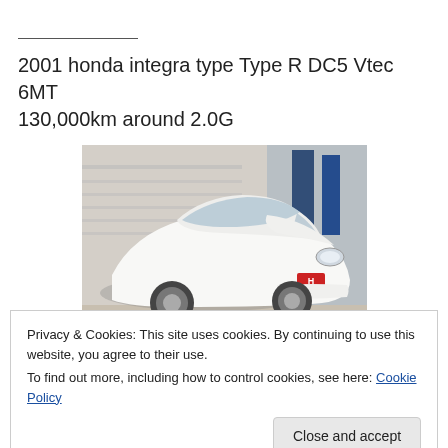2001 honda integra type Type R DC5 Vtec 6MT 130,000km around 2.0G
[Figure (photo): White 2001 Honda Integra Type R DC5 photographed in a parking area, front three-quarter view, with Japanese commercial signs in the background.]
Privacy & Cookies: This site uses cookies. By continuing to use this website, you agree to their use.
To find out more, including how to control cookies, see here: Cookie Policy
Close and accept